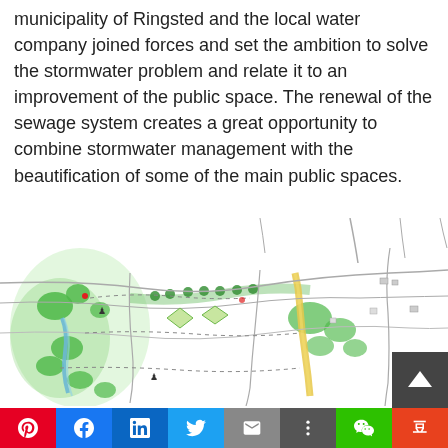municipality of Ringsted and the local water company joined forces and set the ambition to solve the stormwater problem and relate it to an improvement of the public space. The renewal of the sewage system creates a great opportunity to combine stormwater management with the beautification of some of the main public spaces.
[Figure (map): Illustrated map of Ringsted showing stormwater management routes, green areas, water channels, roads, and key public spaces. Features green shaded zones, dotted paths, yellow highlighted routes, and urban layout with trees.]